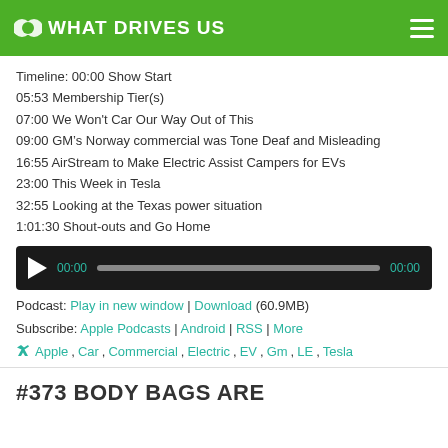WHAT DRIVES US
Timeline: 00:00 Show Start
05:53 Membership Tier(s)
07:00 We Won't Car Our Way Out of This
09:00 GM’s Norway commercial was Tone Deaf and Misleading
16:55 AirStream to Make Electric Assist Campers for EVs
23:00 This Week in Tesla
32:55 Looking at the Texas power situation
1:01:30 Shout-outs and Go Home
[Figure (other): Audio player with play button, timestamp 00:00 and 00:00, and progress bar]
Podcast: Play in new window | Download (60.9MB)
Subscribe: Apple Podcasts | Android | RSS | More
Apple, Car, Commercial, Electric, EV, Gm, LE, Tesla
#373 BODY BAGS ARE